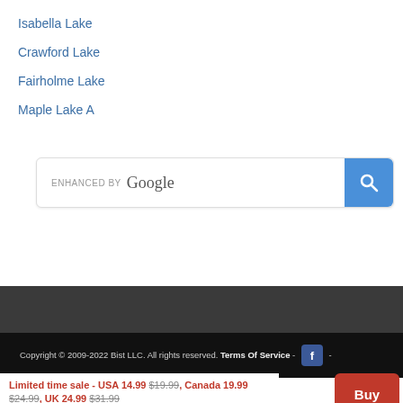Isabella Lake
Crawford Lake
Fairholme Lake
Maple Lake A
[Figure (screenshot): Enhanced by Google search bar with blue search button]
Copyright © 2009-2022 Bist LLC. All rights reserved. Terms Of Service - [Facebook icon] -
Limited time sale - USA 14.99 $19.99, Canada 19.99 $24.99, UK 24.99 $31.99